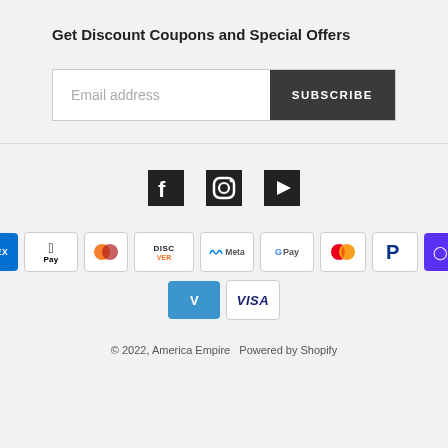Get Discount Coupons and Special Offers
[Figure (screenshot): Email subscription form with 'Email address' placeholder and 'SUBSCRIBE' button]
[Figure (infographic): Social media icons: Facebook, Instagram, YouTube]
[Figure (infographic): Payment method logos: American Express, Apple Pay, Diners Club, Discover, Meta Pay, Google Pay, Mastercard, PayPal, Shop Pay, Venmo, Visa]
© 2022, America Empire  Powered by Shopify